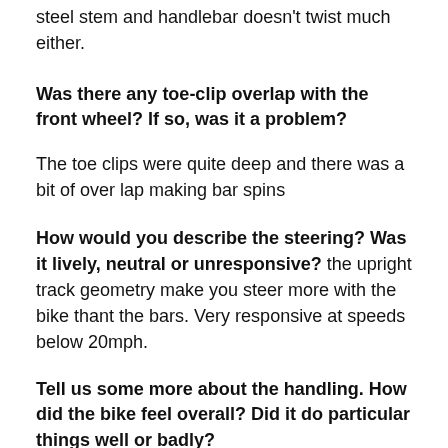steel stem and handlebar doesn't twist much either.
Was there any toe-clip overlap with the front wheel? If so, was it a problem?
The toe clips were quite deep and there was a bit of over lap making bar spins
How would you describe the steering? Was it lively, neutral or unresponsive?
the upright track geometry make you steer more with the bike thant the bars. Very responsive at speeds below 20mph.
Tell us some more about the handling. How did the bike feel overall? Did it do particular things well or badly?
The tight geometry allows you to weave the bike easily and pick lines along the road, avoiding the pot holes and